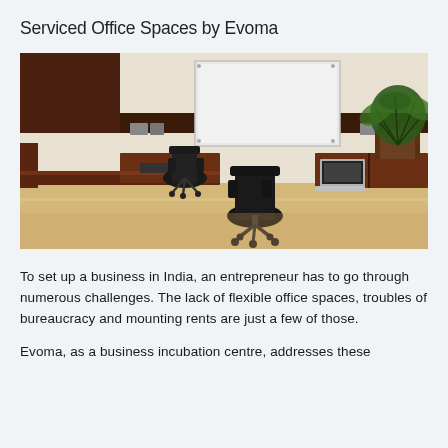Serviced Office Spaces by Evoma
[Figure (photo): Interior photograph of a serviced office space showing dark wood desks, black ergonomic chairs, a whiteboard on the wall, a potted palm plant, and a laptop on the desk, with light wood flooring.]
To set up a business in India, an entrepreneur has to go through numerous challenges. The lack of flexible office spaces, troubles of bureaucracy and mounting rents are just a few of those.
Evoma, as a business incubation centre, addresses these